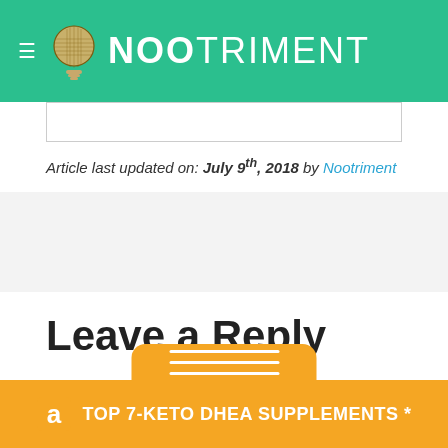Nootriment
Article last updated on: July 9th, 2018 by Nootriment
Leave a Reply
[Figure (infographic): Orange bottom banner with Amazon logo and text: TOP 7-KETO DHEA SUPPLEMENTS *]